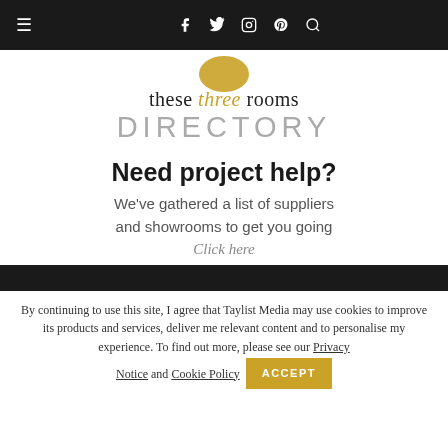≡  f  𝕏  𝕀  ⊕  🔍
[Figure (logo): these three rooms DIRECTORY logo with gold circle and italic gold 'three']
Need project help?
We've gathered a list of suppliers and showrooms to get you going Click here
By continuing to use this site, I agree that Taylist Media may use cookies to improve its products and services, deliver me relevant content and to personalise my experience. To find out more, please see our Privacy Notice and Cookie Policy  ACCEPT